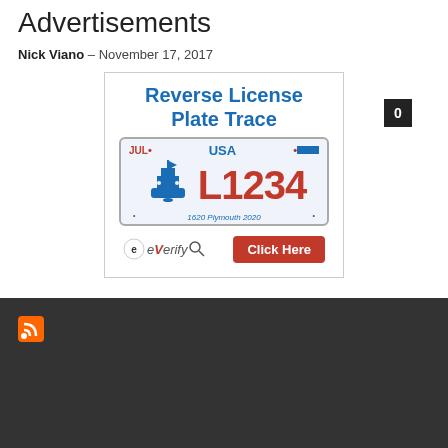Advertisements
Nick Viano – November 17, 2017
[Figure (illustration): Advertisement banner for Reverse License Plate Trace service (eVerify). Shows a stylized USA license plate with 'L1234' and a ship graphic, text 'Reverse License Plate Trace', and a 'Click Here' button.]
[Figure (logo): RSS feed orange icon in the dark footer area.]